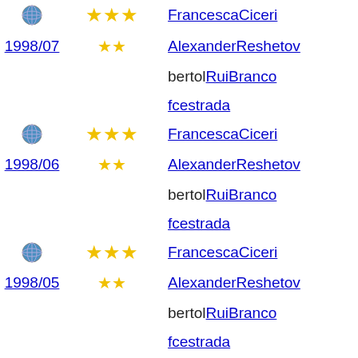🌐 ★★★ FrancescaCiceri
1998/07 ★★ AlexanderReshetov
bertol RuiBranco
fcestrada
🌐 ★★★ FrancescaCiceri
1998/06 ★★ AlexanderReshetov
bertol RuiBranco
fcestrada
🌐 ★★★ FrancescaCiceri
1998/05 ★★ AlexanderReshetov
bertol RuiBranco
fcestrada
🌐 ★★★ FrancescaCiceri
1998/04 ★★ AlexanderReshetov
bertol RuiBranco
fcestrada
🌐 ★★★ FrancescaCiceri
1998/03 ★★ AlexanderReshetov
bertol RuiBranco